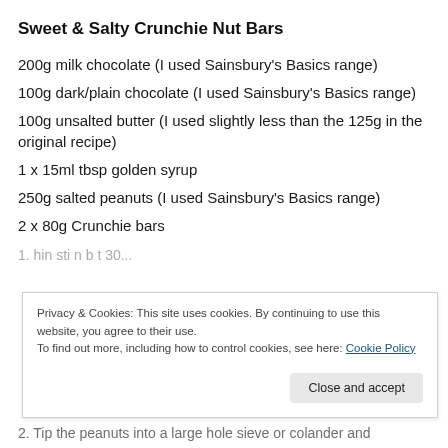Sweet & Salty Crunchie Nut Bars
200g milk chocolate (I used Sainsbury's Basics range)
100g dark/plain chocolate (I used Sainsbury's Basics range)
100g unsalted butter (I used slightly less than the 125g in the original recipe)
1 x 15ml tbsp golden syrup
250g salted peanuts (I used Sainsbury's Basics range)
2 x 80g Crunchie bars
Privacy & Cookies: This site uses cookies. By continuing to use this website, you agree to their use.
To find out more, including how to control cookies, see here: Cookie Policy
2. Tip the peanuts into a large hole sieve or colander and